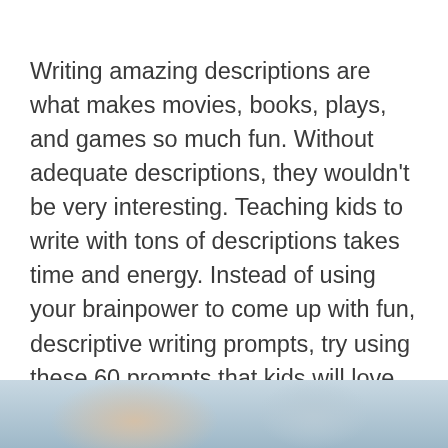Writing amazing descriptions are what makes movies, books, plays, and games so much fun. Without adequate descriptions, they wouldn't be very interesting. Teaching kids to write with tons of descriptions takes time and energy. Instead of using your brainpower to come up with fun, descriptive writing prompts, try using these 60 prompts that kids will love. Be sure to scroll all the way down to the bottom to sign up to have a PRINTABLE list of all prompt ideas emailed directly to you!
[Figure (photo): Partial photo of children or students, cropped at bottom of page, blurred/partial view]